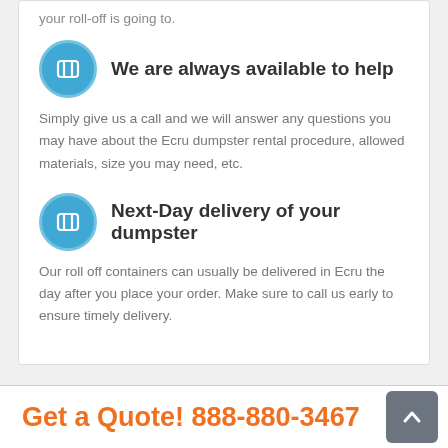your roll-off is going to.
We are always available to help
Simply give us a call and we will answer any questions you may have about the Ecru dumpster rental procedure, allowed materials, size you may need, etc.
Next-Day delivery of your dumpster
Our roll off containers can usually be delivered in Ecru the day after you place your order. Make sure to call us early to ensure timely delivery.
Get a Quote! 888-880-3467